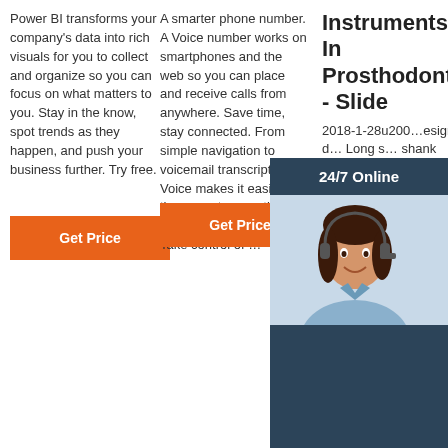Power BI transforms your company’s data into rich visuals for you to collect and organize so you can focus on what matters to you. Stay in the know, spot trends as they happen, and push your business further. Try free.
Get Price
A smarter phone number. A Voice number works on smartphones and the web so you can place and receive calls from anywhere. Save time, stay connected. From simple navigation to voicemail transcription, Voice makes it easier than ever to save time while staying connected. Take control of …
Get Price
Instruments In Prosthodontics - Slide
2018-1-28u200…esign d… Long s… shank handpi… grip – conve… type/sl… handpiece/notch grip shank – air turbine handpiece/high speed handpiece Other attachments -
[Figure (infographic): Chat support overlay box with 24/7 Online header, photo of woman with headset, Click here for free chat text in orange, and QUOTATION button in orange.]
[Figure (logo): TOP badge with orange dotted circle and red/orange TOP text.]